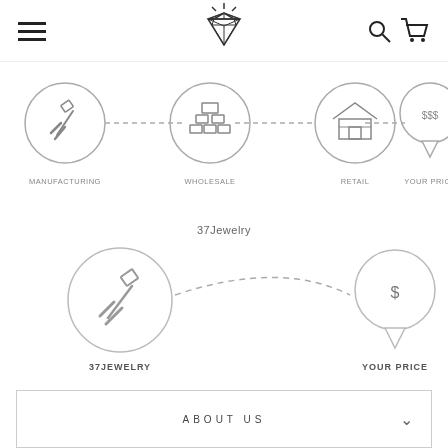[Figure (logo): 37Jewelry diamond logo in header navigation bar with hamburger menu, search and cart icons]
[Figure (infographic): Supply chain diagram showing four steps connected by dashed lines: MANUFACTURING (hammer icon circle), WHOLESALE (boxes/bricks icon circle), RETAIL (store icon circle), YOUR PRICE ($$$ speech bubble/pin)]
37Jewelry
[Figure (infographic): Simplified supply chain showing two steps connected by dashed arc: 37JEWELRY (hammer icon circle) directly to YOUR PRICE ($ pin/speech bubble)]
ABOUT US